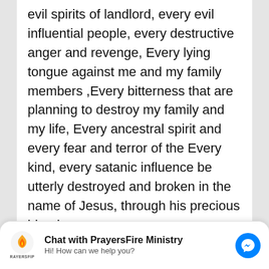evil spirits of landlord, every evil influential people, every destructive anger and revenge, Every lying tongue against me and my family members ,Every bitterness that are planning to destroy my family and my life, Every ancestral spirit and every fear and terror of the Every kind, every satanic influence be utterly destroyed and broken in the name of Jesus, through his precious blood.

I bind, renounce and resist any troubles, quarrels, confusions satanic discipline, wickedness of landlord in the
Chat with PrayersFire Ministry
Hi! How can we help you?